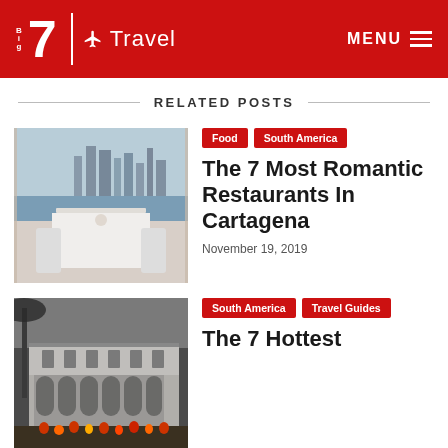Big 7 Travel — MENU
RELATED POSTS
[Figure (photo): Romantic restaurant table with white tablecloth, chairs, and city skyline view over water in background]
Food | South America — The 7 Most Romantic Restaurants In Cartagena — November 19, 2019
[Figure (photo): Black and white photo of a large colonial building with arches and crowds of people on the street]
South America | Travel Guides — The 7 Hottest ...